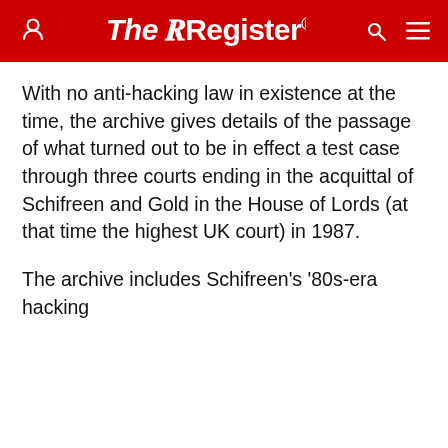The Register
With no anti-hacking law in existence at the time, the archive gives details of the passage of what turned out to be in effect a test case through three courts ending in the acquittal of Schifreen and Gold in the House of Lords (at that time the highest UK court) in 1987.
The archive includes Schifreen's '80s-era hacking